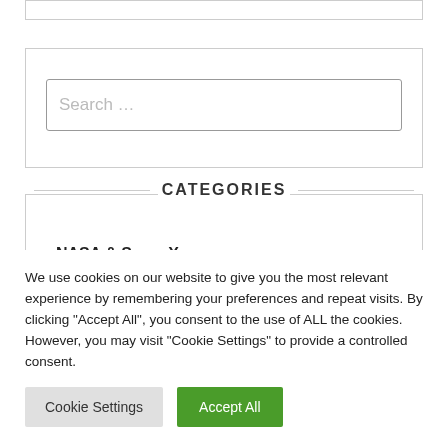[Figure (screenshot): Top bordered box (partial widget)]
[Figure (screenshot): Search box with placeholder text 'Search ...']
CATEGORIES
NASA & SpaceX
We use cookies on our website to give you the most relevant experience by remembering your preferences and repeat visits. By clicking "Accept All", you consent to the use of ALL the cookies. However, you may visit "Cookie Settings" to provide a controlled consent.
Cookie Settings | Accept All